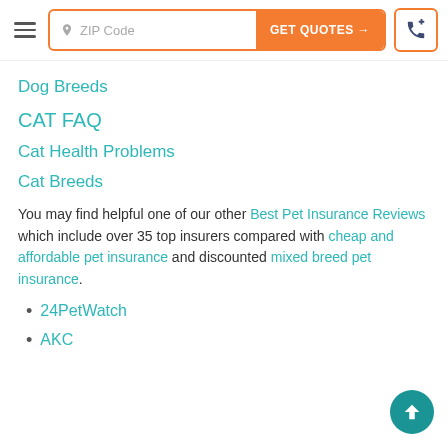ZIP Code | GET QUOTES → | phone button
Dog Breeds
CAT FAQ
Cat Health Problems
Cat Breeds
You may find helpful one of our other Best Pet Insurance Reviews which include over 35 top insurers compared with cheap and affordable pet insurance and discounted mixed breed pet insurance.
24PetWatch
AKC